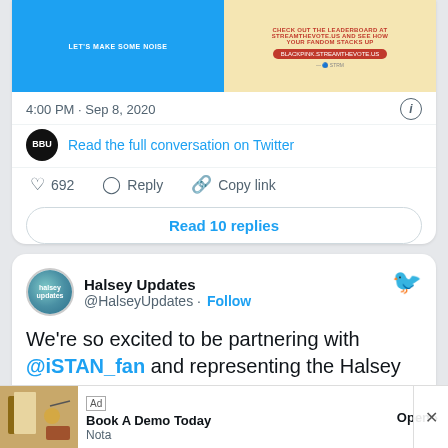[Figure (screenshot): Partial tweet card showing two images side by side - left blue image and right yellow/cream image]
4:00 PM · Sep 8, 2020
Read the full conversation on Twitter
692  Reply  Copy link
Read 10 replies
Halsey Updates @HalseyUpdates · Follow
We're so excited to be partnering with @iSTAN_fan and representing the Halsey fanbase in the #Stream...
[Figure (screenshot): Ad banner: Book A Demo Today - Nota - Open]